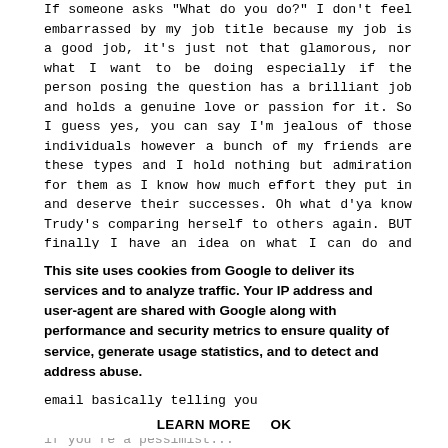If someone asks "What do you do?" I don't feel embarrassed by my job title because my job is a good job, it's just not that glamorous, nor what I want to be doing especially if the person posing the question has a brilliant job and holds a genuine love or passion for it. So I guess yes, you can say I'm jealous of those individuals however a bunch of my friends are these types and I hold nothing but admiration for them as I know how much effort they put in and deserve their successes. Oh what d'ya know Trudy's comparing herself to others again. BUT finally I have an idea on what I can do and thanks to the not so glamorous but worthwhile jobs I have the skills needed to fulfill the role. Then we tackle the experience issue. How does one gain experience if no one is willing to allow you to get the experience? It's another one of life's never ending cycles. It's disheartening to receive email after email basically telling you
you're just not that good enough - even worse if you're a pessimist...
This site uses cookies from Google to deliver its services and to analyze traffic. Your IP address and user-agent are shared with Google along with performance and security metrics to ensure quality of service, generate usage statistics, and to detect and address abuse.
LEARN MORE    OK
industry/industries I want to be in and how hard the typical choices eh?
be easy but I know that I CAN do it for...